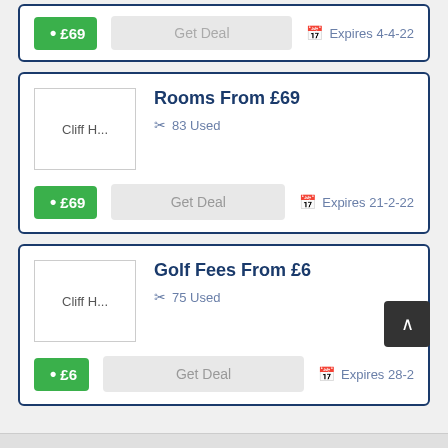[Figure (screenshot): Partial deal card showing £69 price tag, Get Deal button, and Expires 4-4-22]
Rooms From £69
83 Used
£69 Get Deal Expires 21-2-22
Golf Fees From £6
75 Used
£6 Get Deal Expires 28-2
[Figure (screenshot): Scroll to top button (dark, with up chevron)]